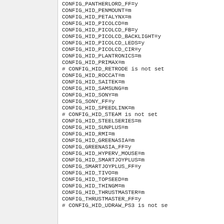CONFIG_PANTHERLORD_FF=y
CONFIG_HID_PENMOUNT=m
CONFIG_HID_PETALYNX=m
CONFIG_HID_PICOLCD=m
CONFIG_HID_PICOLCD_FB=y
CONFIG_HID_PICOLCD_BACKLIGHT=y
CONFIG_HID_PICOLCD_LEDS=y
CONFIG_HID_PICOLCD_CIR=y
CONFIG_HID_PLANTRONICS=m
CONFIG_HID_PRIMAX=m
# CONFIG_HID_RETRODE is not set
CONFIG_HID_ROCCAT=m
CONFIG_HID_SAITEK=m
CONFIG_HID_SAMSUNG=m
CONFIG_HID_SONY=m
CONFIG_SONY_FF=y
CONFIG_HID_SPEEDLINK=m
# CONFIG_HID_STEAM is not set
CONFIG_HID_STEELSERIES=m
CONFIG_HID_SUNPLUS=m
CONFIG_HID_RMI=m
CONFIG_HID_GREENASIA=m
CONFIG_GREENASIA_FF=y
CONFIG_HID_HYPERV_MOUSE=m
CONFIG_HID_SMARTJOYPLUS=m
CONFIG_SMARTJOYPLUS_FF=y
CONFIG_HID_TIVO=m
CONFIG_HID_TOPSEED=m
CONFIG_HID_THINGM=m
CONFIG_HID_THRUSTMASTER=m
CONFIG_THRUSTMASTER_FF=y
# CONFIG_HID_UDRAW_PS3 is not se